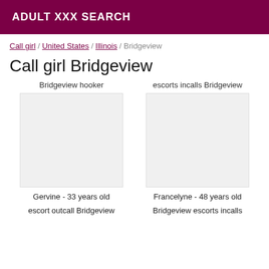ADULT XXX SEARCH
Call girl / United States / Illinois / Bridgeview
Call girl Bridgeview
Bridgeview hooker
escorts incalls Bridgeview
Gervine - 33 years old
Francelyne - 48 years old
escort outcall Bridgeview
Bridgeview escorts incalls